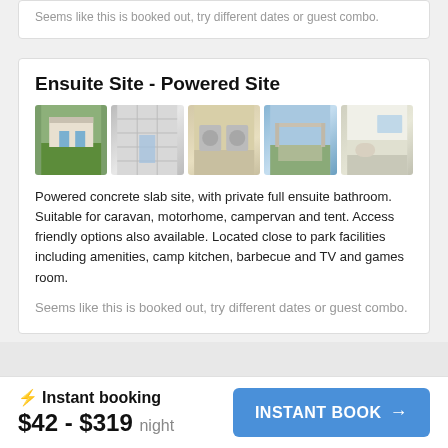Seems like this is booked out, try different dates or guest combo.
Ensuite Site - Powered Site
[Figure (photo): Five thumbnail photos of ensuite powered camping site: exterior building with grass, bathroom interior, bathroom/laundry area, outdoor covered area, and bathroom interior view]
Powered concrete slab site, with private full ensuite bathroom. Suitable for caravan, motorhome, campervan and tent. Access friendly options also available. Located close to park facilities including amenities, camp kitchen, barbecue and TV and games room.
Seems like this is booked out, try different dates or guest combo.
⚡ Instant booking  $42 - $319 night  INSTANT BOOK →